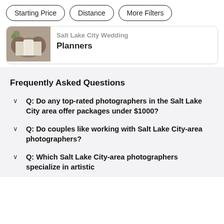Starting Price | Distance | More Filters
[Figure (photo): Thumbnail photo of wedding table setting with white items on dark wood table]
Salt Lake City Wedding Planners
Frequently Asked Questions
Q: Do any top-rated photographers in the Salt Lake City area offer packages under $1000?
Q: Do couples like working with Salt Lake City-area photographers?
Q: Which Salt Lake City-area photographers specialize in artistic